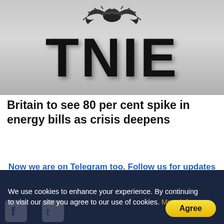[Figure (logo): TNIE logo with eagle emblem above large bold letters 'TNIE' on a grey gradient background]
Britain to see 80 per cent spike in energy bills as crisis deepens
Now we are on Telegram too. Follow us for updates
TAGS  Ukraine  Ukraine Russia
We use cookies to enhance your experience. By continuing to visit our site you agree to our use of cookies. More info